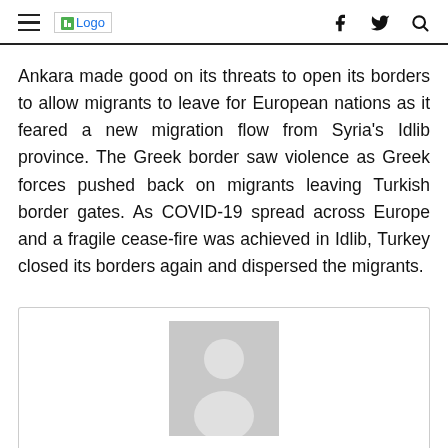≡ Logo  f  (twitter)  (search)
Ankara made good on its threats to open its borders to allow migrants to leave for European nations as it feared a new migration flow from Syria's Idlib province. The Greek border saw violence as Greek forces pushed back on migrants leaving Turkish border gates. As COVID-19 spread across Europe and a fragile cease-fire was achieved in Idlib, Turkey closed its borders again and dispersed the migrants.
[Figure (photo): Author avatar placeholder image — grey silhouette of a person on grey background inside a bordered card]